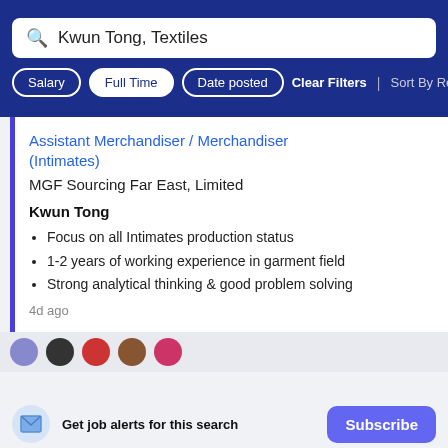Kwun Tong, Textiles
Salary | Full Time | Date posted | Clear Filters | Sort By Rele...
Assistant Merchandiser / Merchandiser (Intimates)
MGF Sourcing Far East, Limited
Kwun Tong
Focus on all Intimates production status
1-2 years of working experience in garment field
Strong analytical thinking & good problem solving
4d ago
Get job alerts for this search